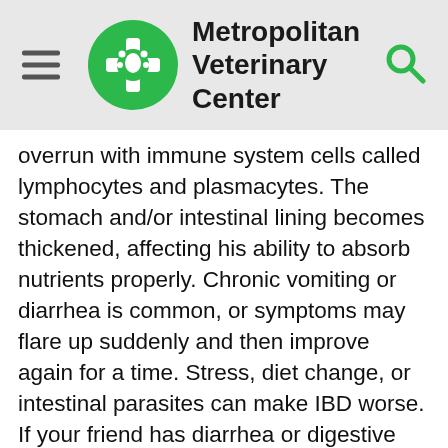Metropolitan Veterinary Center
overrun with immune system cells called lymphocytes and plasmacytes. The stomach and/or intestinal lining becomes thickened, affecting his ability to absorb nutrients properly. Chronic vomiting or diarrhea is common, or symptoms may flare up suddenly and then improve again for a time. Stress, diet change, or intestinal parasites can make IBD worse. If your friend has diarrhea or digestive upsets that are not explained by more common reasons, diagnostic tests, which may include intestinal biopsy, will be needed. Lifelong medications and special diets are usually required to keep IBD under control.